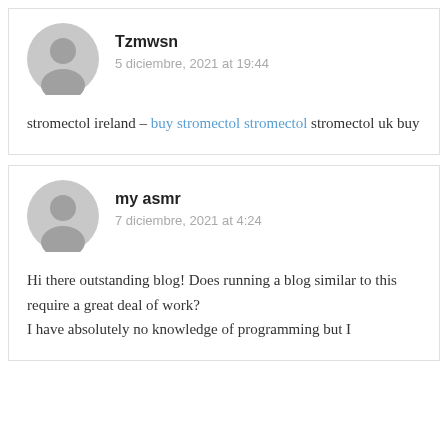[Figure (illustration): Gray default user avatar circle icon for comment by Tzmwsn]
Tzmwsn
5 diciembre, 2021 at 19:44
stromectol ireland – buy stromectol stromectol stromectol uk buy
[Figure (illustration): Gray default user avatar circle icon for comment by my asmr]
my asmr
7 diciembre, 2021 at 4:24
Hi there outstanding blog! Does running a blog similar to this require a great deal of work? I have absolutely no knowledge of programming but I